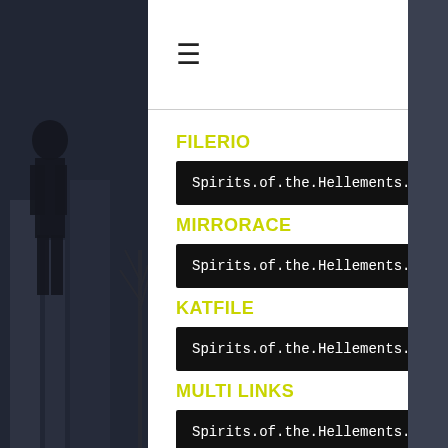☰   🔍
FILERIO
Spirits.of.the.Hellements.TD.Build.2022052.
MIRRORACE
Spirits.of.the.Hellements.TD.Build.2022052.
KATFILE
Spirits.of.the.Hellements.TD.Build.2022052.
MULTI LINKS
Spirits.of.the.Hellements.TD.Build.2022052.
INDISHARE
Spirits.of.the.Hellements.TD.Build.2022052.